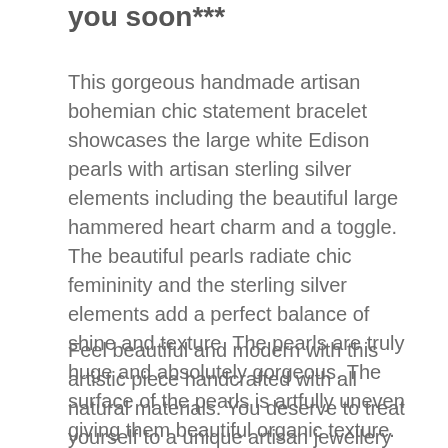you soon***
This gorgeous handmade artisan bohemian chic statement bracelet showcases the large white Edison pearls with artisan sterling silver elements including the beautiful large hammered heart charm and a toggle.
The beautiful pearls radiate chic femininity and the sterling silver elements add a perfect balance of shine and texture. The pearls are truly huge and absolutely gorgeous. The surface of the pearls is artfully uneven giving them beautiful organic texture.
Feel beautiful and modern with this artistic piece handcrafted with all natural materials. You deserve to treat yourself to a unique artisan jewellery piece and or as a special gift for someone special...